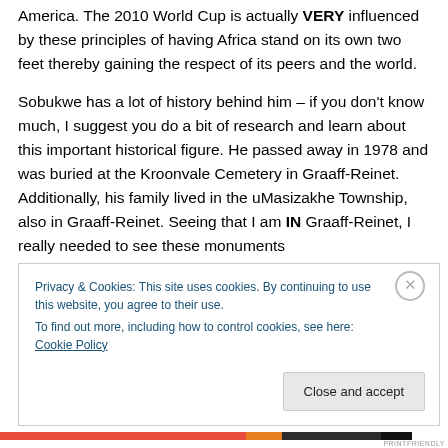America. The 2010 World Cup is actually VERY influenced by these principles of having Africa stand on its own two feet thereby gaining the respect of its peers and the world.
Sobukwe has a lot of history behind him – if you don't know much, I suggest you do a bit of research and learn about this important historical figure. He passed away in 1978 and was buried at the Kroonvale Cemetery in Graaff-Reinet. Additionally, his family lived in the uMasizakhe Township, also in Graaff-Reinet. Seeing that I am IN Graaff-Reinet, I really needed to see these monuments
Privacy & Cookies: This site uses cookies. By continuing to use this website, you agree to their use. To find out more, including how to control cookies, see here: Cookie Policy